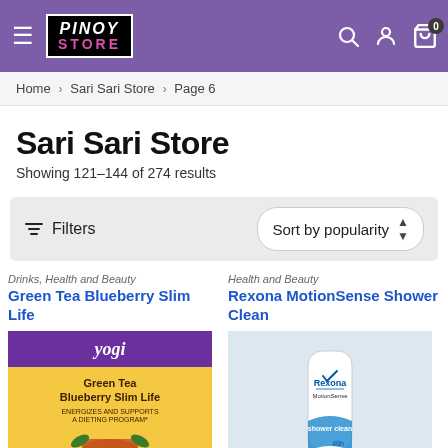Pinoy Store – navigation header with logo, search, user, and cart icons
Home > Sari Sari Store > Page 6
Sari Sari Store
Showing 121–144 of 274 results
Filters  |  Sort by popularity
Drinks, Health and Beauty
Green Tea Blueberry Slim Life
[Figure (photo): Yogi Green Tea Blueberry Slim Life tea box with a cup of tea image]
Health and Beauty
Rexona MotionSense Shower Clean
[Figure (photo): Rexona MotionSense Shower Clean deodorant stick bottle]